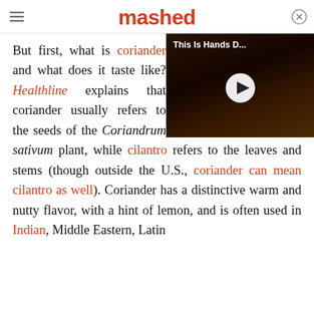mashed
[Figure (screenshot): Video thumbnail showing food with text 'This Is Hands D...' and a play button overlay]
But first, what is coriander and what does it taste like? Healthline explains that coriander usually refers to the seeds of the Coriandrum sativum plant, while cilantro refers to the leaves and stems (though outside the U.S., coriander can mean cilantro as well). Coriander has a distinctive warm and nutty flavor, with a hint of lemon, and is often used in Indian, Middle Eastern, Latin